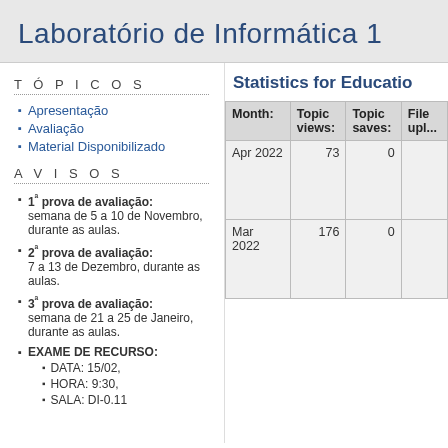Laboratório de Informática 1
T Ó P I C O S
Apresentação
Avaliação
Material Disponibilizado
A V I S O S
1ª prova de avaliação: semana de 5 a 10 de Novembro, durante as aulas.
2ª prova de avaliação: 7 a 13 de Dezembro, durante as aulas.
3ª prova de avaliação: semana de 21 a 25 de Janeiro, durante as aulas.
EXAME DE RECURSO: DATA: 15/02, HORA: 9:30, SALA: DI-0.11
Statistics for Education
| Month: | Topic views: | Topic saves: | File upl... |
| --- | --- | --- | --- |
| Apr 2022 | 73 | 0 |  |
| Mar 2022 | 176 | 0 |  |